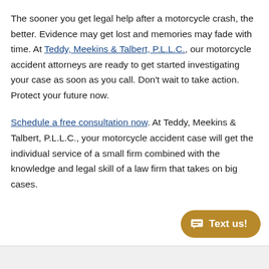The sooner you get legal help after a motorcycle crash, the better. Evidence may get lost and memories may fade with time. At Teddy, Meekins & Talbert, P.L.L.C., our motorcycle accident attorneys are ready to get started investigating your case as soon as you call. Don't wait to take action. Protect your future now.
Schedule a free consultation now. At Teddy, Meekins & Talbert, P.L.L.C., your motorcycle accident case will get the individual service of a small firm combined with the knowledge and legal skill of a law firm that takes on big cases.